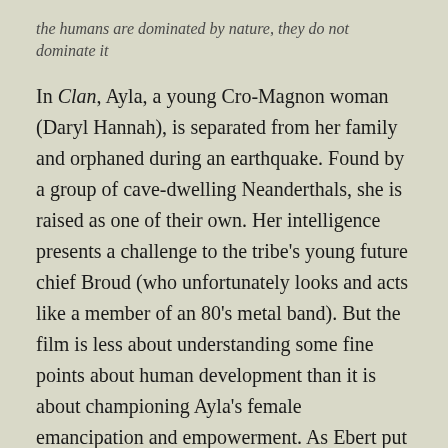the humans are dominated by nature, they do not dominate it
In Clan, Ayla, a young Cro-Magnon woman (Daryl Hannah), is separated from her family and orphaned during an earthquake. Found by a group of cave-dwelling Neanderthals, she is raised as one of their own. Her intelligence presents a challenge to the tribe's young future chief Broud (who unfortunately looks and acts like a member of an 80's metal band). But the film is less about understanding some fine points about human development than it is about championing Ayla's female emancipation and empowerment. As Ebert put it, 'Neanderthal man is on the way out, and Cro-magnon woman is on the way in.' As such,